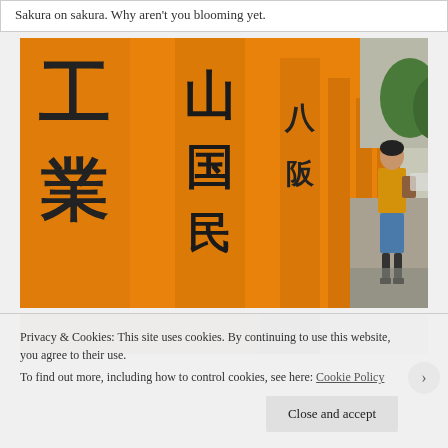Sakura on sakura. Why aren't you blooming yet.
[Figure (photo): Photo of orange torii gates at a Japanese shrine with a young woman in a yellow jacket and blue skirt standing beside them, green trees visible in the background]
[Figure (photo): Partial view of a second photo strip at the bottom of the page]
Privacy & Cookies: This site uses cookies. By continuing to use this website, you agree to their use.
To find out more, including how to control cookies, see here: Cookie Policy
Close and accept